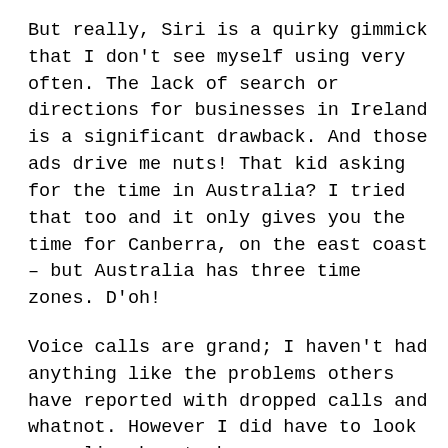But really, Siri is a quirky gimmick that I don't see myself using very often. The lack of search or directions for businesses in Ireland is a significant drawback. And those ads drive me nuts! That kid asking for the time in Australia? I tried that too and it only gives you the time for Canberra, on the east coast – but Australia has three time zones. D'oh!
Voice calls are grand; I haven't had anything like the problems others have reported with dropped calls and whatnot. However I did have to look up online how to hang up on or ignore unwanted calls; the manual has nowt